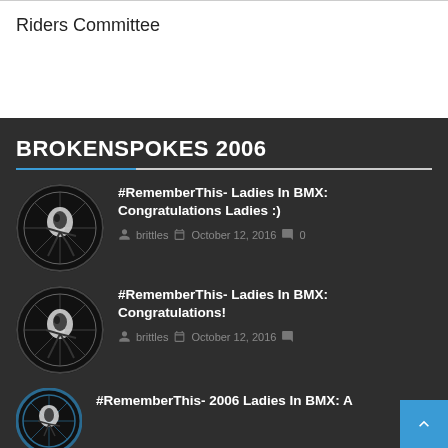Riders Committee
BROKENSPOKES 2006
#RememberThis- Ladies In BMX: Congratulations Ladies :) brittles October 12, 2016 0
#RememberThis- Ladies In BMX: Congratulations! brittles October 12, 2016
#RememberThis- 2006 Ladies In BMX: A